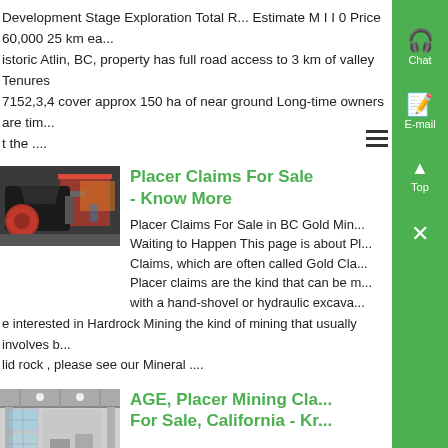Development Stage Exploration Total R... Estimate M I I 0 Price 60,000 25 km ea... istoric Atlin, BC, property has full road access to 3 km of valley Tenures 7152,3,4 cover approx 150 ha of near ground Long-time owners are tim... t the ....
[Figure (photo): Industrial mining crusher machine in a warehouse, large black metal machine with red components]
Placer Claims For Sale - Know More
Placer Claims For Sale in BC Gold Min... Waiting to Happen This page is about Placer Claims, which are often called Gold Cla... Placer claims are the kind that can be mined with a hand-shovel or hydraulic excava... e interested in Hardrock Mining the kind of mining that usually involves b... lid rock , please see our Mineral ....
[Figure (photo): Interior of a large industrial building or warehouse with metal structures and lighting]
AGE, Placer Mining Cla... For Sale, California - Kr...